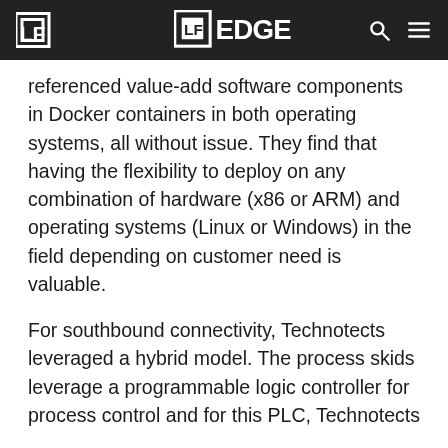LF EDGE
referenced value-add software components in Docker containers in both operating systems, all without issue. They find that having the flexibility to deploy on any combination of hardware (x86 or ARM) and operating systems (Linux or Windows) in the field depending on customer need is valuable.
For southbound connectivity, Technotects leveraged a hybrid model. The process skids leverage a programmable logic controller for process control and for this PLC, Technotects